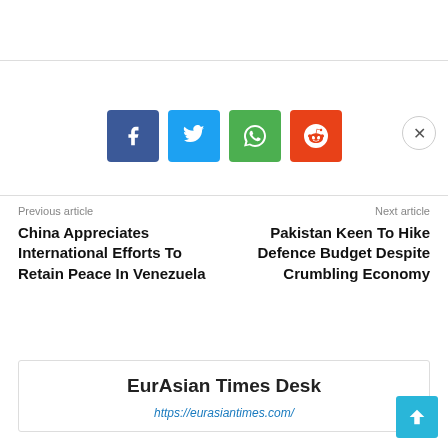[Figure (other): Social share buttons: Facebook (blue), Twitter (light blue), WhatsApp (green), Reddit (orange-red), plus a close (X) button]
Previous article
China Appreciates International Efforts To Retain Peace In Venezuela
Next article
Pakistan Keen To Hike Defence Budget Despite Crumbling Economy
EurAsian Times Desk
https://eurasiantimes.com/